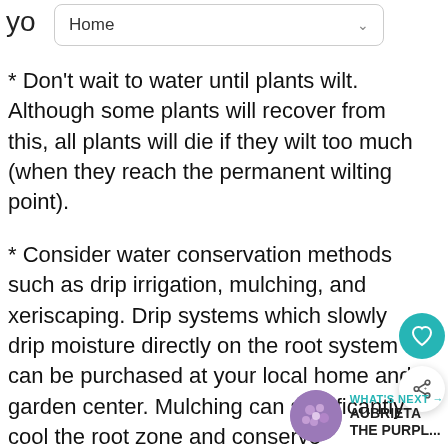yo  Home
* Don't wait to water until plants wilt. Although some plants will recover from this, all plants will die if they wilt too much (when they reach the permanent wilting point).
* Consider water conservation methods such as drip irrigation, mulching, and xeriscaping. Drip systems which slowly drip moisture directly on the root system can be purchased at your local home and garden center. Mulching can significantly cool the root zone and conserve moisture.
WHAT'S NEXT → AUBRIETA THE PURPL...